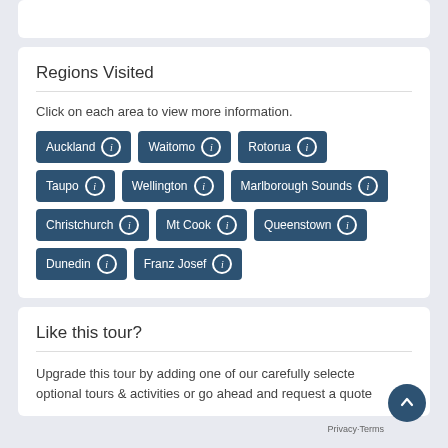Regions Visited
Click on each area to view more information.
Auckland
Waitomo
Rotorua
Taupo
Wellington
Marlborough Sounds
Christchurch
Mt Cook
Queenstown
Dunedin
Franz Josef
Like this tour?
Upgrade this tour by adding one of our carefully selected optional tours & activities or go ahead and request a quote